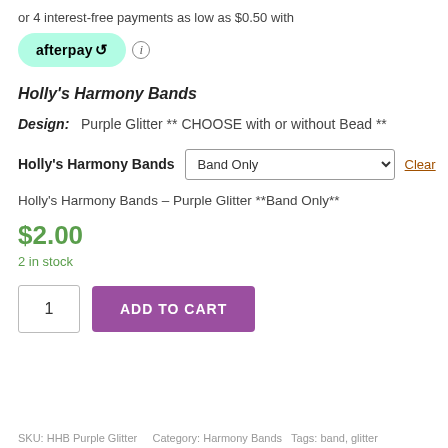or 4 interest-free payments as low as $0.50 with
[Figure (logo): Afterpay logo button — mint green pill-shaped button with 'afterpay' text and loop arrow icon, followed by an info icon]
Holly's Harmony Bands
Design:  Purple Glitter ** CHOOSE with or without Bead **
Holly's Harmony Bands  [dropdown: Band Only]  Clear
Holly's Harmony Bands – Purple Glitter **Band Only**
$2.00
2 in stock
1  ADD TO CART
SKU: HHB Purple Glitter...